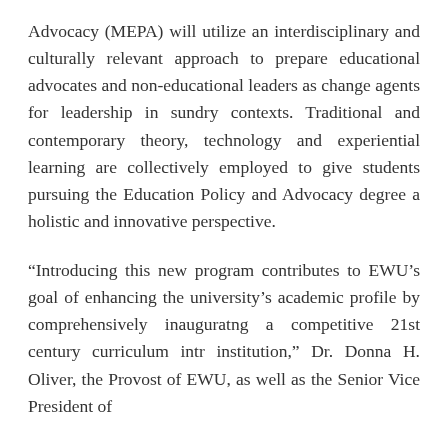Advocacy (MEPA) will utilize an interdisciplinary and culturally relevant approach to prepare educational advocates and non-educational leaders as change agents for leadership in sundry contexts. Traditional and contemporary theory, technology and experiential learning are collectively employed to give students pursuing the Education Policy and Advocacy degree a holistic and innovative perspective.
“Introducing this new program contributes to EWU’s goal of enhancing the university’s academic profile by comprehensively inaugurating a competitive 21st century curriculum into our institution,” Dr. Donna H. Oliver, the Provost of EWU, as well as the Senior Vice President of